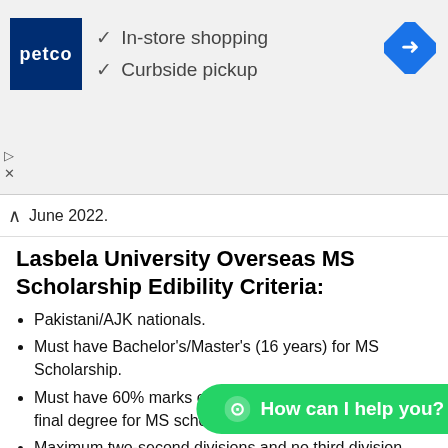[Figure (other): Petco advertisement banner with logo, checkmarks for In-store shopping and Curbside pickup, and a navigation arrow icon]
June 2022.
Lasbela University Overseas MS Scholarship Edibility Criteria:
Pakistani/AJK nationals.
Must have Bachelor's/Master's (16 years) for MS Scholarship.
Must have 60% marks or CGPA 2.50 out of 4.0 in the final degree for MS scholarships.
Maximum two-second divisions and no third division throughout academic career.
The maximum age on the closing date for the MS scholarship is 35 years for full-time f...
6. Must have obtained requisite qualification on or before
[Figure (other): WhatsApp chat button: 'How can I help you?']